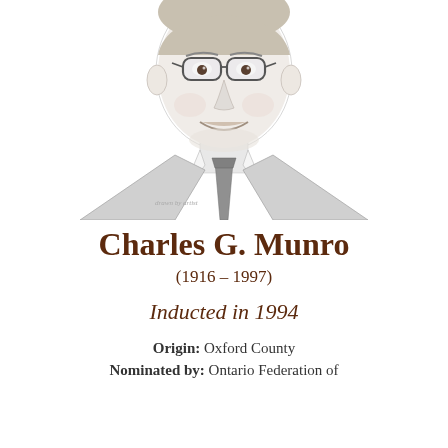[Figure (illustration): Pencil sketch portrait of Charles G. Munro, an older man wearing glasses, a suit jacket, dress shirt, and patterned tie, shown from the chest up, smiling.]
Charles G. Munro
(1916 – 1997)
Inducted in 1994
Origin: Oxford County
Nominated by: Ontario Federation of